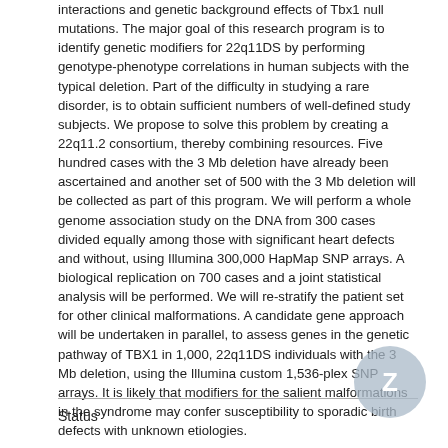interactions and genetic background effects of Tbx1 null mutations. The major goal of this research program is to identify genetic modifiers for 22q11DS by performing genotype-phenotype correlations in human subjects with the typical deletion. Part of the difficulty in studying a rare disorder, is to obtain sufficient numbers of well-defined study subjects. We propose to solve this problem by creating a 22q11.2 consortium, thereby combining resources. Five hundred cases with the 3 Mb deletion have already been ascertained and another set of 500 with the 3 Mb deletion will be collected as part of this program. We will perform a whole genome association study on the DNA from 300 cases divided equally among those with significant heart defects and without, using Illumina 300,000 HapMap SNP arrays. A biological replication on 700 cases and a joint statistical analysis will be performed. We will re-stratify the patient set for other clinical malformations. A candidate gene approach will be undertaken in parallel, to assess genes in the genetic pathway of TBX1 in 1,000, 22q11DS individuals with the 3 Mb deletion, using the Illumina custom 1,536-plex SNP arrays. It is likely that modifiers for the salient malformations in the syndrome may confer susceptibility to sporadic birth defects with unknown etiologies.
Status